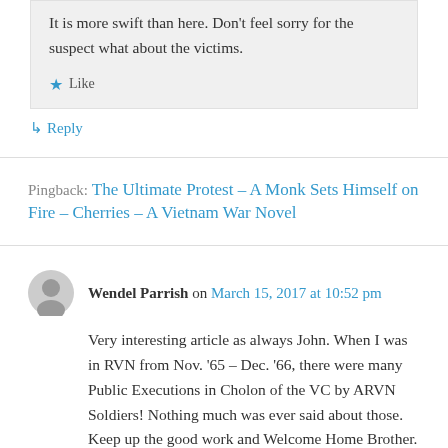It is more swift than here. Don't feel sorry for the suspect what about the victims.
★ Like
↳ Reply
Pingback: The Ultimate Protest – A Monk Sets Himself on Fire – Cherries – A Vietnam War Novel
Wendel Parrish on March 15, 2017 at 10:52 pm
Very interesting article as always John. When I was in RVN from Nov. '65 – Dec. '66, there were many Public Executions in Cholon of the VC by ARVN Soldiers! Nothing much was ever said about those. Keep up the good work and Welcome Home Brother.